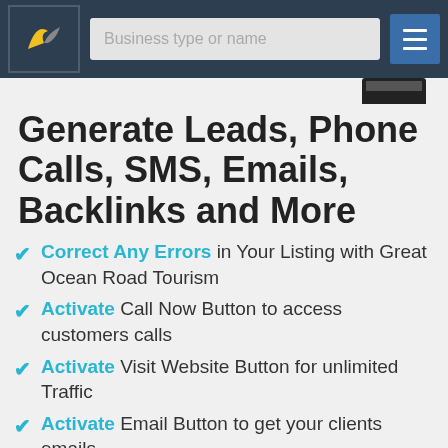Business type or name
Generate Leads, Phone Calls, SMS, Emails, Backlinks and More
Correct Any Errors in Your Listing with Great Ocean Road Tourism
Activate Call Now Button to access customers calls
Activate Visit Website Button for unlimited Traffic
Activate Email Button to get your clients emails